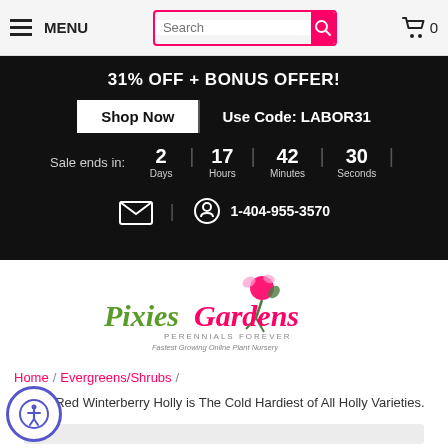MENU | Search | Cart 0
31% OFF + BONUS OFFER! Shop Now | Use Code: LABOR31 | Sale ends in: 2 Days | 17 Hours | 42 Minutes | 30 Seconds
[Figure (logo): Pixies Gardens logo with fairy illustration, text 'Pixies Gardens', 'PERENNIALS FOREVER', 'Fastest Growing Online Plant Nursery']
Home / Evergreens/Shrubs / Winter Red Winterberry Holly is The Cold Hardiest of All Holly Varieties.